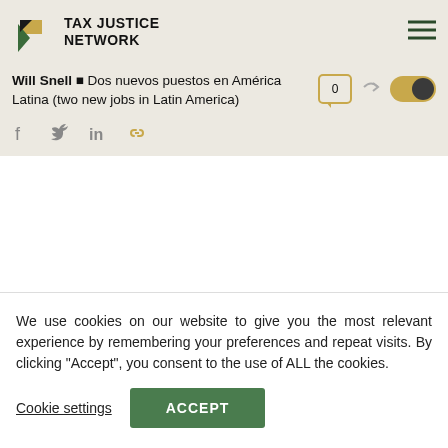TAX JUSTICE NETWORK
Will Snell ■ Dos nuevos puestos en América Latina (two new jobs in Latin America)
We use cookies on our website to give you the most relevant experience by remembering your preferences and repeat visits. By clicking "Accept", you consent to the use of ALL the cookies.
Cookie settings | ACCEPT